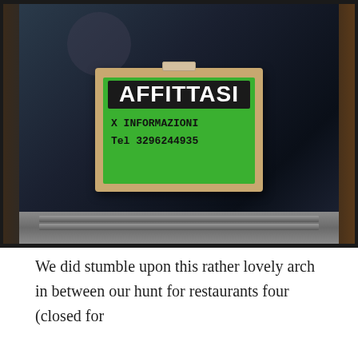[Figure (photo): A photograph of a door or window with a beige/tan sign holder hanging on it. Inside the sign holder is a green card with a black label reading 'AFFITTASI' (Italian for 'For Rent') in bold white text, and handwritten text below reading 'X INFORMAZIONI' and 'Tel 3296244935'. The door has a dark glass panel and a metal strip at the bottom.]
We did stumble upon this rather lovely arch in between our hunt for restaurants four (closed for